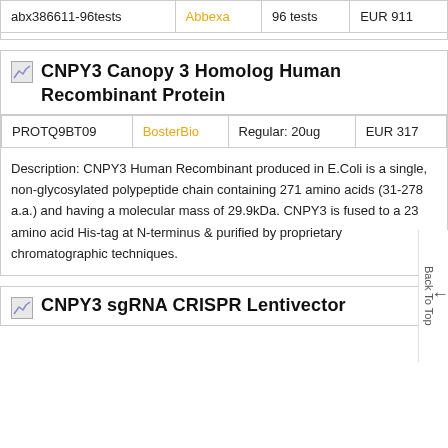| Product ID | Vendor | Size | Price |
| --- | --- | --- | --- |
| abx386611-96tests | Abbexa | 96 tests | EUR 911 |
CNPY3 Canopy 3 Homolog Human Recombinant Protein
| Product ID | Vendor | Size | Price |
| --- | --- | --- | --- |
| PROTQ9BT09 | BosterBio | Regular: 20ug | EUR 317 |
Description: CNPY3 Human Recombinant produced in E.Coli is a single, non-glycosylated polypeptide chain containing 271 amino acids (31-278 a.a.) and having a molecular mass of 29.9kDa. CNPY3 is fused to a 23 amino acid His-tag at N-terminus & purified by proprietary chromatographic techniques.
CNPY3 sgRNA CRISPR Lentivector